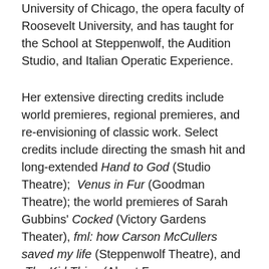University of Chicago, the opera faculty of Roosevelt University, and has taught for the School at Steppenwolf, the Audition Studio, and Italian Operatic Experience.
Her extensive directing credits include world premieres, regional premieres, and re-envisioning of classic work. Select credits include directing the smash hit and long-extended Hand to God (Studio Theatre); Venus in Fur (Goodman Theatre); the world premieres of Sarah Gubbins' Cocked (Victory Gardens Theater), fml: how Carson McCullers saved my life (Steppenwolf Theatre), and The Kid Thing (About Face Theatre/Chicago Dramatists); the critically lauded The Whale and Rest by Samuel D. Hunter (Victory Gardens Theater); the Jeff Award winning productions of In Arabia We'd All be Kings and The Brief History of Helen of Troy (Steep Theatre), site-specific performances of the operas Acis and